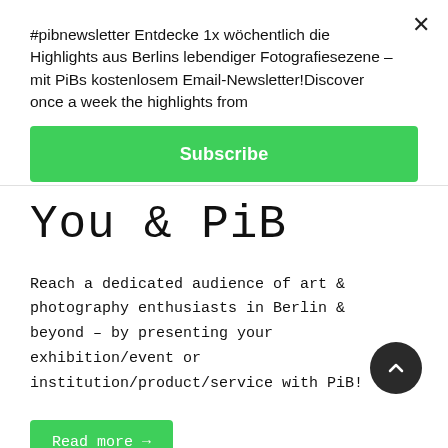#pibnewsletter Entdecke 1x wöchentlich die Highlights aus Berlins lebendiger Fotografiesezene – mit PiBs kostenlosem Email-Newsletter!Discover once a week the highlights from
Subscribe
You & PiB
Reach a dedicated audience of art & photography enthusiasts in Berlin & beyond – by presenting your exhibition/event or institution/product/service with PiB!
Read more →